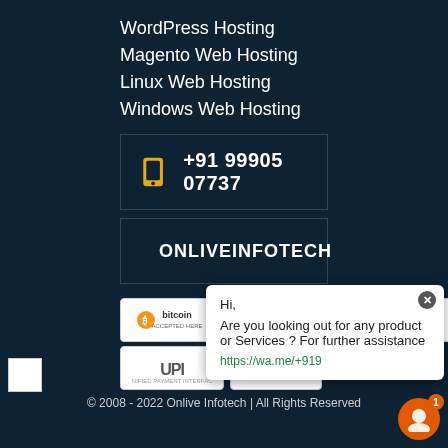WordPress Hosting
Magento Web Hosting
Linux Web Hosting
Windows Web Hosting
+91 99905 07737
ONLIVEINFOTECH
[Figure (infographic): Payment method badges: Bitcoin, PayPal, VISA, Mastercard, UPI, Paytm]
© 2008 - 2022 Onlive Infotech | All Rights Reserved
Hi, Are you looking out for any product or Services ? For further assistance https://wa.me/+919